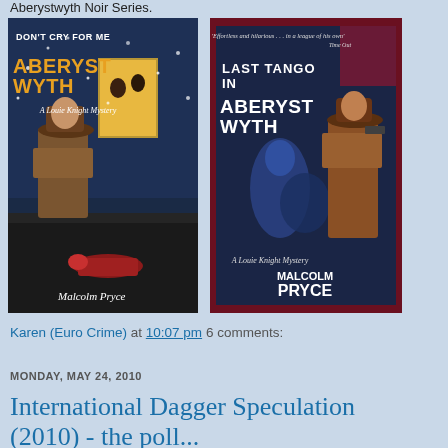Aberystwyth Noir Series.
[Figure (photo): Book cover: Don't Cry for Me Aberystwyth - A Louie Knight Mystery by Malcolm Pryce. Shows a noir-style detective in a trenchcoat in a snowy street scene.]
[Figure (photo): Book cover: Last Tango in Aberystwyth - A Louie Knight Mystery by Malcolm Pryce. Shows a noir-style detective holding a gun on a blue-toned cover.]
Karen (Euro Crime) at 10:07 pm    6 comments:
MONDAY, MAY 24, 2010
International Dagger Speculation (2010) - the poll...